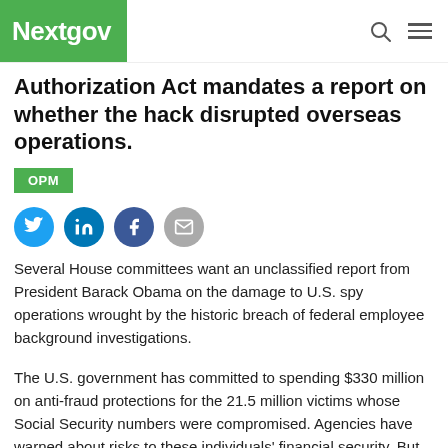Nextgov
Authorization Act mandates a report on whether the hack disrupted overseas operations.
OPM
Several House committees want an unclassified report from President Barack Obama on the damage to U.S. spy operations wrought by the historic breach of federal employee background investigations.
The U.S. government has committed to spending $330 million on anti-fraud protections for the 21.5 million victims whose Social Security numbers were compromised. Agencies have warned about risks to these individuals' financial security. But little has been said about the national security threats posed by